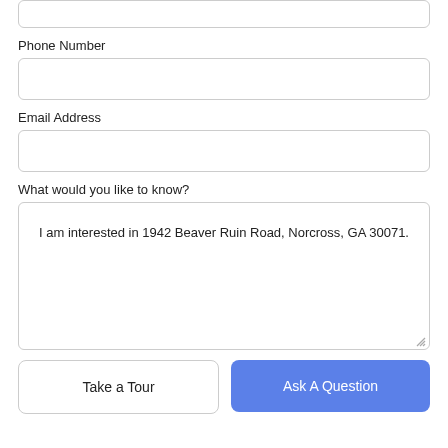Phone Number
Email Address
What would you like to know?
I am interested in 1942 Beaver Ruin Road, Norcross, GA 30071.
Take a Tour
Ask A Question